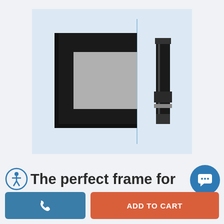[Figure (photo): Product photo of a black picture frame corner piece showing L-shaped frame moulding and a separate vertical metal bracket/bar clip, displayed on a light blue background]
The perfect frame for
[Figure (other): Accessibility icon (person in circle) and chat icon circle button (blue circle with speech bubble)]
[Figure (other): Phone call button (teal/blue) and Add to Cart button (orange-red)]